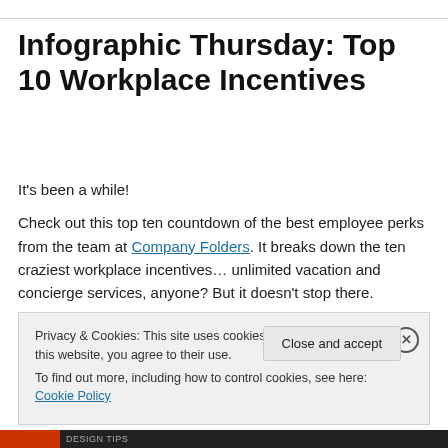Infographic Thursday: Top 10 Workplace Incentives
It's been a while!
Check out this top ten countdown of the best employee perks from the team at Company Folders. It breaks down the ten craziest workplace incentives… unlimited vacation and concierge services, anyone? But it doesn't stop there.
Privacy & Cookies: This site uses cookies. By continuing to use this website, you agree to their use.
To find out more, including how to control cookies, see here: Cookie Policy

Close and accept